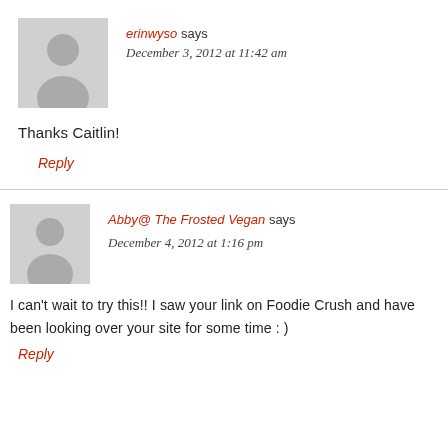[Figure (illustration): Gray avatar placeholder image showing a silhouette of a person]
erinwyso says
December 3, 2012 at 11:42 am
Thanks Caitlin!
Reply
[Figure (illustration): Gray avatar placeholder image showing a silhouette of a person]
Abby@ The Frosted Vegan says
December 4, 2012 at 1:16 pm
I can't wait to try this!! I saw your link on Foodie Crush and have been looking over your site for some time : )
Reply